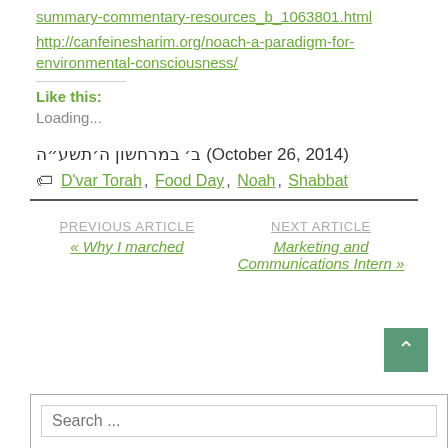summary-commentary-resources_b_1063801.html
http://canfeinesharim.org/noach-a-paradigm-for-environmental-consciousness/
Like this:
Loading...
ב׳ במרחשון ה׳תשע״ה (October 26, 2014)
D'var Torah, Food Day, Noah, Shabbat
PREVIOUS ARTICLE « Why I marched
NEXT ARTICLE Marketing and Communications Intern »
Search ...